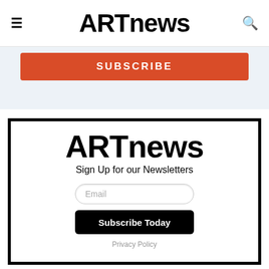ARTnews
[Figure (screenshot): Red SUBSCRIBE button on light blue/grey background]
[Figure (screenshot): ARTnews newsletter signup box with logo, Sign Up for our Newsletters tagline, Email input field, Subscribe Today button, and Privacy Policy link]
Sign Up for our Newsletters
Email
Subscribe Today
Privacy Policy